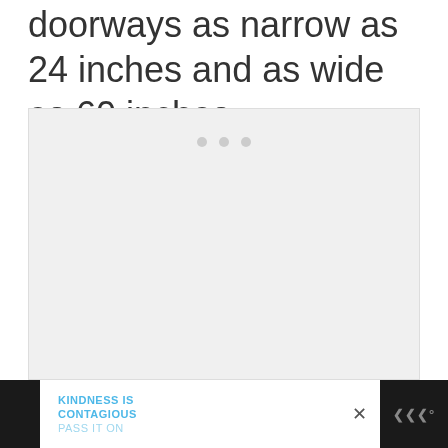doorways as narrow as 24 inches and as wide as 60 inches.
[Figure (other): Light gray placeholder image box with three small gray dots near the top center, indicating a loading or empty media container.]
KINDNESS IS CONTAGIOUS PASS IT ON